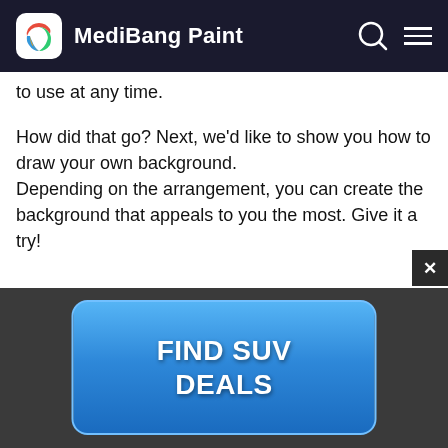MediBang Paint
to use at any time.
How did that go? Next, we'd like to show you how to draw your own background. Depending on the arrangement, you can create the background that appeals to you the most. Give it a try!
[Figure (illustration): Sketch/line drawing of a background scene, partially visible]
[Figure (other): Advertisement banner with blue button reading FIND SUV DEALS on a dark background]